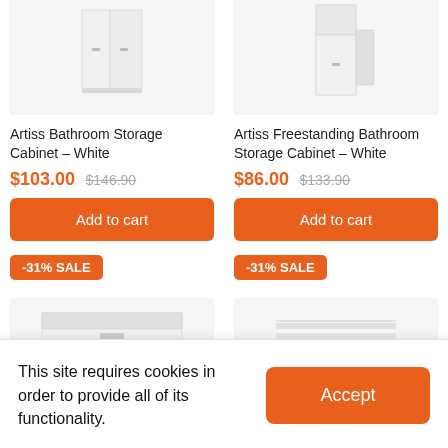[Figure (photo): Artiss Bathroom Storage Cabinet - White product image (top cropped)]
[Figure (photo): Artiss Freestanding Bathroom Storage Cabinet - White product image (top cropped)]
Artiss Bathroom Storage Cabinet - White
$103.00 $146.90
Add to cart
-31% SALE
Artiss Freestanding Bathroom Storage Cabinet - White
$86.00 $133.90
Add to cart
-31% SALE
[Figure (photo): Bottom product image left - white cabinet with drawer]
[Figure (photo): Bottom product image right - white shelf/rack]
This site requires cookies in order to provide all of its functionality.
Accept